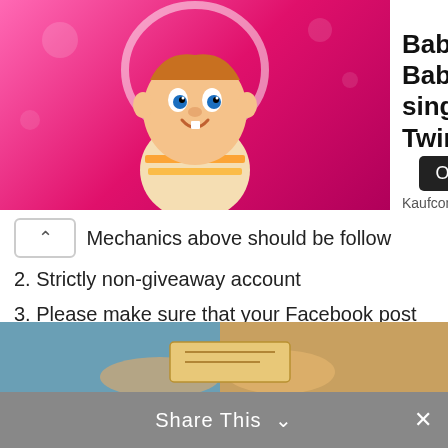[Figure (illustration): Advertisement banner: Babsy Baby singing Twinkle app ad with cartoon baby on pink background, Open button, and Kaufcom GmbH publisher name]
Mechanics above should be follow
2. Strictly non-giveaway account
3. Please make sure that your Facebook post or Instagram account is set to public
4. The giveaway will run until May 19, 2017.
5. The giveway will closed on the midnight of April 19, 2017 and the winner will be announced on Saturday (May 20, 2017).
6. Open to all Philippine residents only.
Good luck everyone!
[Figure (photo): Partial photo of hands holding something, visible at bottom of page]
Share This  ×